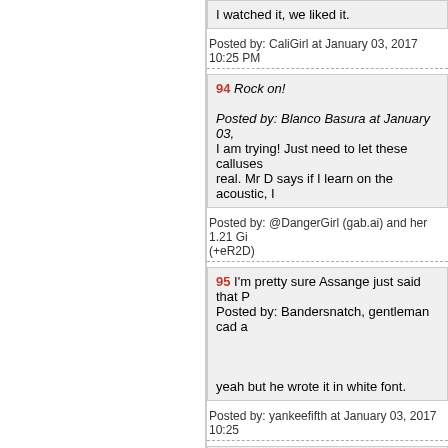I watched it, we liked it.
Posted by: CaliGirl at January 03, 2017 10:25 PM
94 Rock on!
Posted by: Blanco Basura at January 03,
I am trying! Just need to let these calluses real. Mr D says if I learn on the acoustic, I
Posted by: @DangerGirl (gab.ai) and her 1.21 Gi (+eR2D)
95 I'm pretty sure Assange just said that P
Posted by: Bandersnatch, gentleman cad a
yeah but he wrote it in white font.
Posted by: yankeefifth at January 03, 2017 10:25
96 Chuck Finley? Looks like someone wa